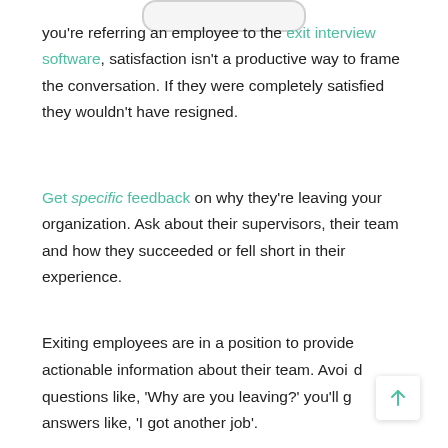[Figure (other): Partial rounded rectangle shape at the top center, likely bottom of an image or UI element from previous page]
you're referring an employee to the exit interview software, satisfaction isn't a productive way to frame the conversation. If they were completely satisfied they wouldn't have resigned.
Get specific feedback on why they're leaving your organization. Ask about their supervisors, their team and how they succeeded or fell short in their experience.
Exiting employees are in a position to provide actionable information about their team. Avoid questions like, 'Why are you leaving?' you'll get answers like, 'I got another job'.